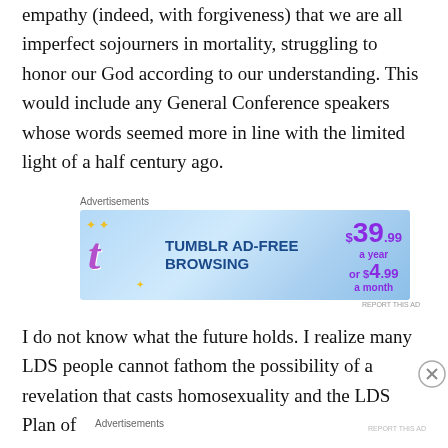empathy (indeed, with forgiveness) that we are all imperfect sojourners in mortality, struggling to honor our God according to our understanding. This would include any General Conference speakers whose words seemed more in line with the limited light of a half century ago.
[Figure (screenshot): Tumblr Ad-Free Browsing advertisement banner. Blue gradient background with Tumblr logo, text 'TUMBLR AD-FREE BROWSING', price $39.99 a year or $4.99 a month.]
I do not know what the future holds. I realize many LDS people cannot fathom the possibility of a revelation that casts homosexuality and the LDS Plan of